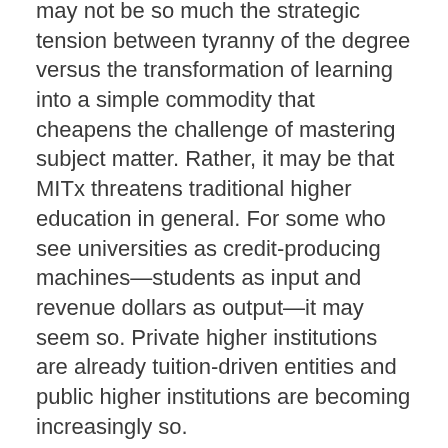may not be so much the strategic tension between tyranny of the degree versus the transformation of learning into a simple commodity that cheapens the challenge of mastering subject matter. Rather, it may be that MITx threatens traditional higher education in general. For some who see universities as credit-producing machines—students as input and revenue dollars as output—it may seem so. Private higher institutions are already tuition-driven entities and public higher institutions are becoming increasingly so.
This shift advances a question many have asked before and one that is particularly relevant today. What commitment does higher education have in creating learning opportunities that break barriers to education?
Is higher learning more than taking a class? Is it more than subject content and testing for knowledge acquisition? Is it membership within a community of learners?